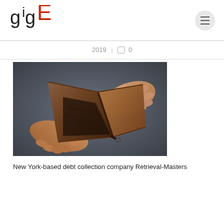GigE logo and navigation menu
2019 | 0
[Figure (photo): Two hands holding open an empty brown leather wallet, showing no money inside, against a dark gray background.]
New York-based debt collection company Retrieval-Masters